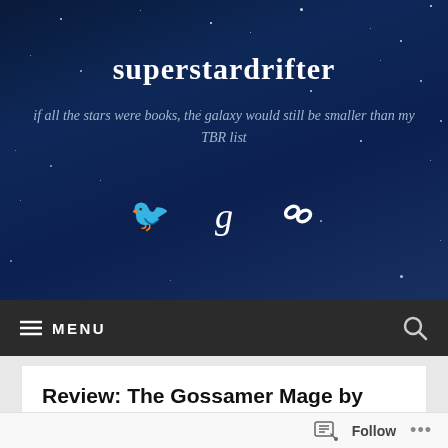superstardrifter
if all the stars were books, the galaxy would still be smaller than my TBR list
[Figure (screenshot): Social media icons: Twitter bird, Goodreads 'g', and a chain-link/widget icon]
MENU
Review: The Gossamer Mage by Julie E. Czerneda
Follow ...